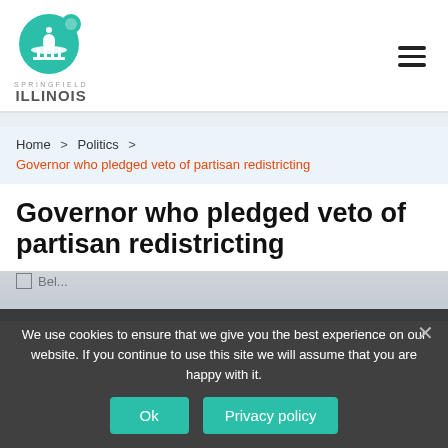[Figure (logo): Springfield Illinois city logo — teal circular icon with capitol building dome and a dot, with text SPRINGFIELD ILLINOIS beneath]
Home > Politics > Governor who pledged veto of partisan redistricting
Governor who pledged veto of partisan redistricting
We use cookies to ensure that we give you the best experience on our website. If you continue to use this site we will assume that you are happy with it.
Ok  Privacy policy